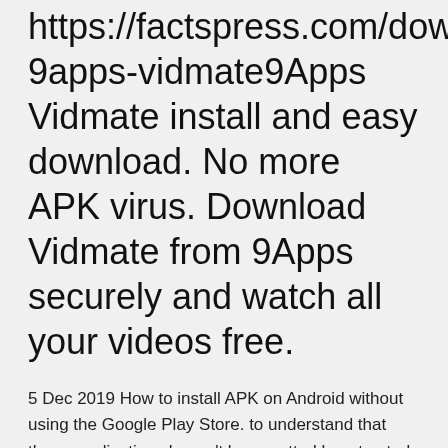https://factspress.com/download-9apps-vidmate9Apps Vidmate install and easy download. No more APK virus. Download Vidmate from 9Apps securely and watch all your videos free.
5 Dec 2019 How to install APK on Android without using the Google Play Store. to understand that these applications haven't been vetted by a trusted source. These are both available for free download through Google Play Store.
Download Housejoy-Trusted Home Services.apk Android,developed by HouseJoy File size 12.92 MB.is housejoy,consumer,activity,house,home,housejoy-trusted,services. Download ExpressVPN - #1 Trusted VPN - Secure Private Fast.apk Android developed by Hola File size...